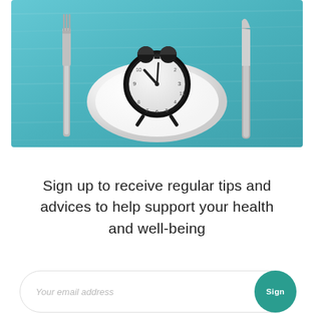[Figure (photo): Photo of a white dinner plate with a black alarm clock sitting on it, flanked by a silver fork on the left and a silver knife on the right, all on a teal/blue wooden surface background. Represents intermittent fasting or meal timing.]
Sign up to receive regular tips and advices to help support your health and well-being